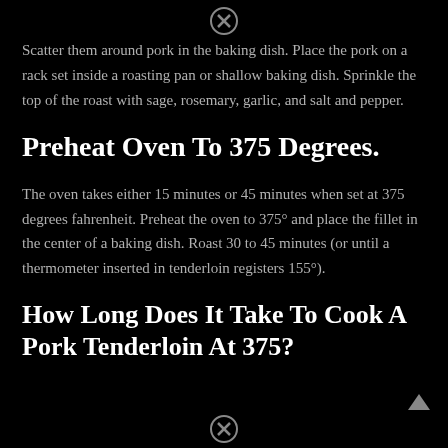Scatter them around pork in the baking dish. Place the pork on a rack set inside a roasting pan or shallow baking dish. Sprinkle the top of the roast with sage, rosemary, garlic, and salt and pepper.
Preheat Oven To 375 Degrees.
The oven takes either 15 minutes or 45 minutes when set at 375 degrees fahrenheit. Preheat the oven to 375° and place the fillet in the center of a baking dish. Roast 30 to 45 minutes (or until a thermometer inserted in tenderloin registers 155°).
How Long Does It Take To Cook A Pork Tenderloin At 375?